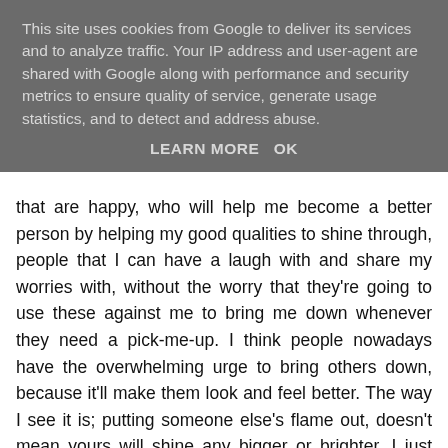This site uses cookies from Google to deliver its services and to analyze traffic. Your IP address and user-agent are shared with Google along with performance and security metrics to ensure quality of service, generate usage statistics, and to detect and address abuse.
LEARN MORE   OK
that are happy, who will help me become a better person by helping my good qualities to shine through, people that I can have a laugh with and share my worries with, without the worry that they're going to use these against me to bring me down whenever they need a pick-me-up. I think people nowadays have the overwhelming urge to bring others down, because it'll make them look and feel better. The way I see it is; putting someone else's flame out, doesn't mean yours will shine any bigger or brighter. I just think some people forget this, and I'm no longer at that age where I will tolerate people just keeping me in their lives just to put my candle out.